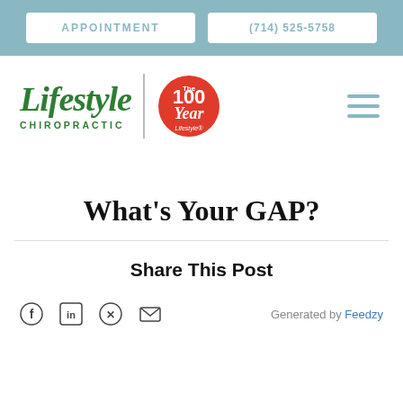APPOINTMENT | (714) 525-5758
[Figure (logo): Lifestyle Chiropractic logo with The 100 Year Lifestyle badge and hamburger menu icon]
What's Your GAP?
Share This Post
Generated by Feedzy